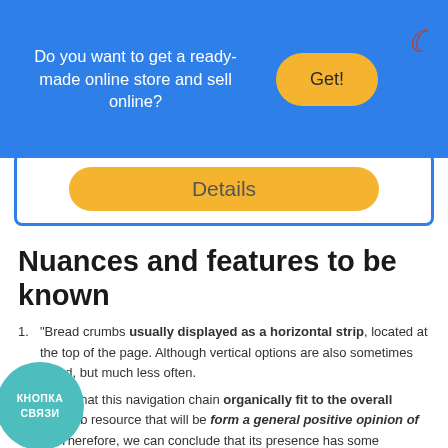[Figure (infographic): Blue banner with text 'Do you want to get a ready-made online store and sell online?' and a yellow 'Get!' button, plus a crescent moon icon in red on the right.]
[Figure (infographic): Details button (yellow pill-shaped) inside a blue-bordered white box.]
Nuances and features to be known
"Bread crumbs usually displayed as a horizontal strip, located at the top of the page. Although vertical options are also sometimes found, but much less often.
[Figure (illustration): Teal circular button with Russian text 'КНОПКА СВЯЗИ']
advisable that this navigation chain organically fit to the overall design web resource that will be form a general positive opinion of users. Therefore, we can conclude that its presence has some influence...